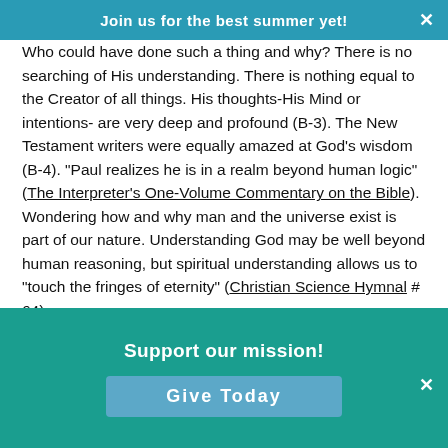Join us for the best summer yet!
Who could have done such a thing and why? There is no searching of His understanding. There is nothing equal to the Creator of all things. His thoughts-His Mind or intentions- are very deep and profound (B-3). The New Testament writers were equally amazed at God’s wisdom (B-4). “Paul realizes he is in a realm beyond human logic” (The Interpreter’s One-Volume Commentary on the Bible). Wondering how and why man and the universe exist is part of our nature. Understanding God may be well beyond human reasoning, but spiritual understanding allows us to “touch the fringes of eternity” (Christian Science Hymnal # 64).
The Discoverer and Founder of Christian Science asked a lot of questions too. She devoted her life to finding some practical answers. She did not shy away from the big question, “What is God?” Some might feel that no human has the right to even attempt an answer. But as the children of Israel knew God through…
Support our mission!
Give Today